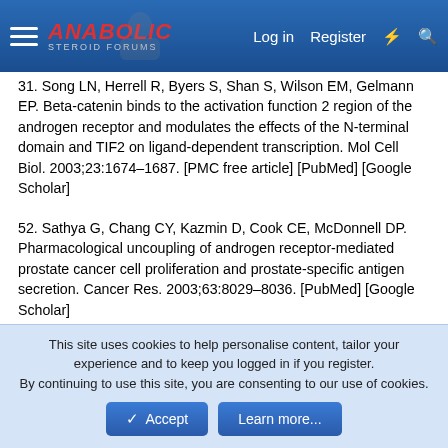Anabolic Steroid Forums — Log in | Register
31. Song LN, Herrell R, Byers S, Shan S, Wilson EM, Gelmann EP. Beta-catenin binds to the activation function 2 region of the androgen receptor and modulates the effects of the N-terminal domain and TIF2 on ligand-dependent transcription. Mol Cell Biol. 2003;23:1674–1687. [PMC free article] [PubMed] [Google Scholar]
52. Sathya G, Chang CY, Kazmin D, Cook CE, McDonnell DP. Pharmacological uncoupling of androgen receptor-mediated prostate cancer cell proliferation and prostate-specific antigen secretion. Cancer Res. 2003;63:8029–8036. [PubMed] [Google Scholar]
*53. Bohl CE, Wu Z, Miller DD, Bell CE, Dalton JT. Crystal structure of the T877A human androgen receptor ligand-binding domain complexed to cyproterone acetate provides insight for ligand-induced conformational changes and
This site uses cookies to help personalise content, tailor your experience and to keep you logged in if you register.
By continuing to use this site, you are consenting to our use of cookies.